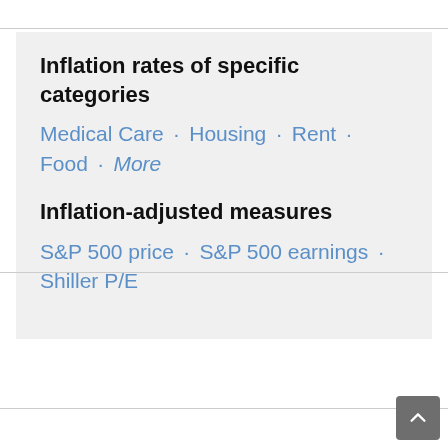Inflation rates of specific categories
Medical Care · Housing · Rent · Food · More
Inflation-adjusted measures
S&P 500 price · S&P 500 earnings · Shiller P/E